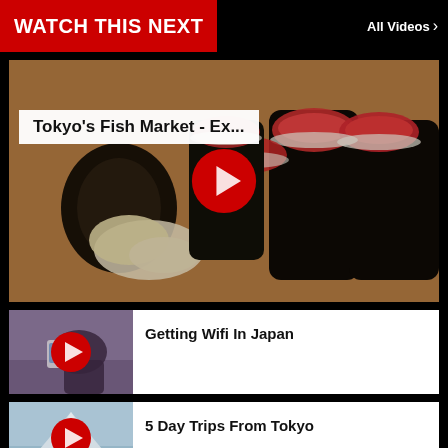WATCH THIS NEXT
All Videos >
[Figure (photo): Close-up photo of sushi rolls (maki) on a wooden surface with pickled ginger, overlaid with a red play button circle and a white title box reading 'Tokyo's Fish Market - Ex...']
Tokyo's Fish Market - Ex...
[Figure (photo): Thumbnail of a person using a phone, with a red play button overlay, for video titled 'Getting Wifi In Japan']
Getting Wifi In Japan
[Figure (photo): Thumbnail of Mount Fuji scenery with a red play button overlay, for video titled '5 Day Trips From Tokyo']
5 Day Trips From Tokyo